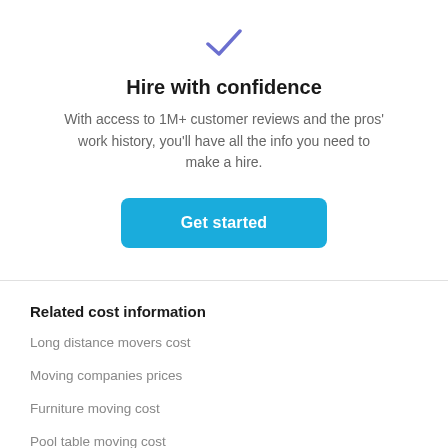[Figure (illustration): Blue/purple checkmark icon centered near the top of the page]
Hire with confidence
With access to 1M+ customer reviews and the pros' work history, you'll have all the info you need to make a hire.
[Figure (other): Blue 'Get started' button]
Related cost information
Long distance movers cost
Moving companies prices
Furniture moving cost
Pool table moving cost
Piano movers cost